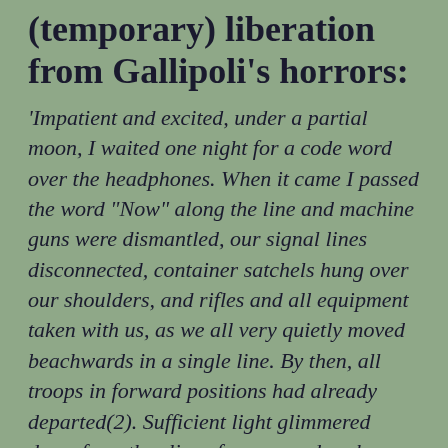(temporary) liberation from Gallipoli's horrors:
'Impatient and excited, under a partial moon, I waited one night for a code word over the headphones. When it came I passed the word "Now" along the line and machine guns were dismantled, our signal lines disconnected, container satchels hung over our shoulders, and rifles and all equipment taken with us, as we all very quietly moved beachwards in a single line. By then, all troops in forward positions had already departed(2). Sufficient light glimmered down from the slice of moon, and perhaps from the Milky Way, always brighter there on clear nights than it appeared to be in England.